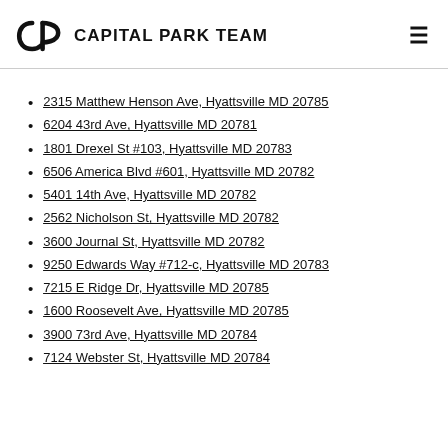CAPITAL PARK TEAM
2315 Matthew Henson Ave, Hyattsville MD 20785
6204 43rd Ave, Hyattsville MD 20781
1801 Drexel St #103, Hyattsville MD 20783
6506 America Blvd #601, Hyattsville MD 20782
5401 14th Ave, Hyattsville MD 20782
2562 Nicholson St, Hyattsville MD 20782
3600 Journal St, Hyattsville MD 20782
9250 Edwards Way #712-c, Hyattsville MD 20783
7215 E Ridge Dr, Hyattsville MD 20785
1600 Roosevelt Ave, Hyattsville MD 20785
3900 73rd Ave, Hyattsville MD 20784
7124 Webster St, Hyattsville MD 20784